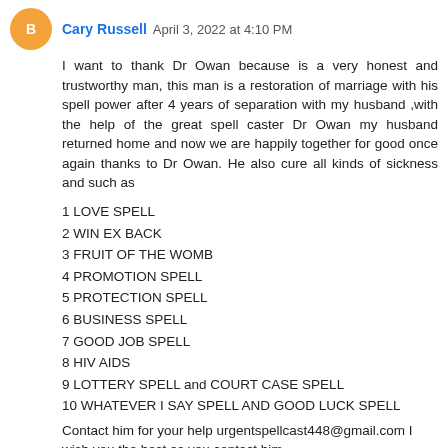Cary Russell  April 3, 2022 at 4:10 PM
I want to thank Dr Owan because is a very honest and trustworthy man, this man is a restoration of marriage with his spell power after 4 years of separation with my husband ,with the help of the great spell caster Dr Owan my husband returned home and now we are happily together for good once again thanks to Dr Owan. He also cure all kinds of sickness and such as
1 LOVE SPELL
2 WIN EX BACK
3 FRUIT OF THE WOMB
4 PROMOTION SPELL
5 PROTECTION SPELL
6 BUSINESS SPELL
7 GOOD JOB SPELL
8 HIV AIDS
9 LOTTERY SPELL and COURT CASE SPELL
10 WHATEVER I SAY SPELL AND GOOD LUCK SPELL
Contact him for your help urgentspellcast448@gmail.com I wish you the best as you contact him.
Reply